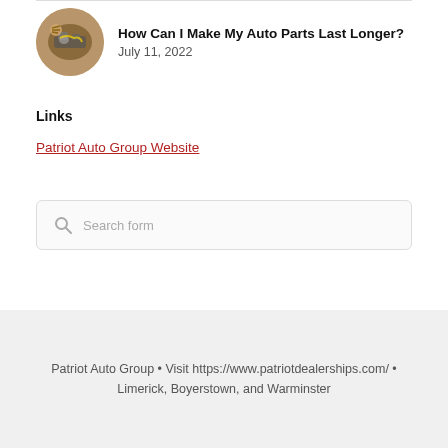[Figure (photo): Circular thumbnail of a mechanic working on a car engine, with hands visible working on auto parts]
How Can I Make My Auto Parts Last Longer?
July 11, 2022
Links
Patriot Auto Group Website
[Figure (other): Search form input field with magnifying glass icon and placeholder text 'Search form']
Patriot Auto Group • Visit https://www.patriotdealerships.com/ • Limerick, Boyerstown, and Warminster